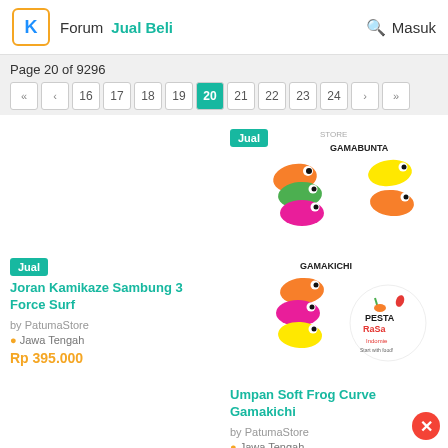Forum  Jual Beli   Masuk
Page 20 of 9296
« ‹ 16 17 18 19 20 21 22 23 24 › »
[Figure (photo): Colorful fishing lures - Gamabunta brand, multiple colors orange green pink yellow]
[Figure (photo): Colorful fishing lures - Gamakichi brand with Pesta Rasa logo]
Jual
Joran Kamikaze Sambung 3 Force Surf
by PatumaStore
Jawa Tengah
Rp 395.000
Umpan Soft Frog Curve Gamakichi
by PatumaStore
Jawa Tengah
Rp 28.000